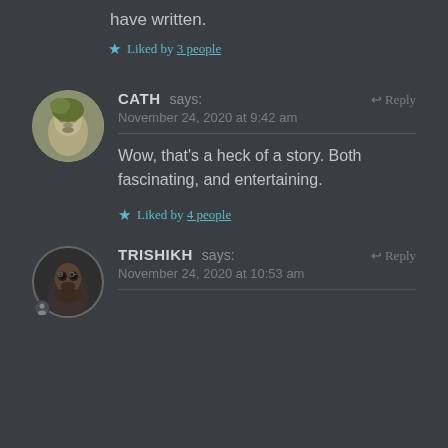have written.
★ Liked by 3 people
CATH says: November 24, 2020 at 9:42 am
Wow, that's a heck of a story. Both fascinating, and entertaining.
★ Liked by 4 people
TRISHIKH says: November 24, 2020 at 10:53 am